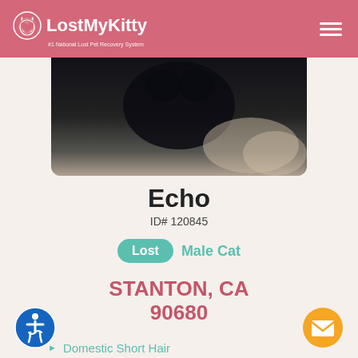LostMyKitty - #1 National Lost Pet Recovery System
[Figure (photo): Dark/shadow photo of a cat, partially obscured]
Echo
ID# 120845
Lost  Male Cat
STANTON, CA 90680
Domestic Short Hair
Black
Lost: 2022-01-20